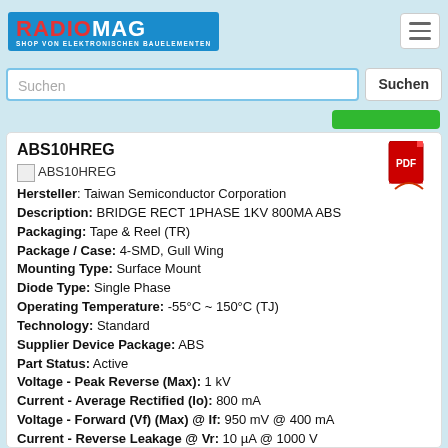RADIOMAG - SHOP VON ELEKTRONISCHEN BAUELEMENTEN
Suchen
ABS10HREG
Hersteller: Taiwan Semiconductor Corporation
Description: BRIDGE RECT 1PHASE 1KV 800MA ABS
Packaging: Tape & Reel (TR)
Package / Case: 4-SMD, Gull Wing
Mounting Type: Surface Mount
Diode Type: Single Phase
Operating Temperature: -55°C ~ 150°C (TJ)
Technology: Standard
Supplier Device Package: ABS
Part Status: Active
Voltage - Peak Reverse (Max): 1 kV
Current - Average Rectified (Io): 800 mA
Voltage - Forward (Vf) (Max) @ If: 950 mV @ 400 mA
Current - Reverse Leakage @ Vr: 10 µA @ 1000 V
Produkt ist nicht verfügbar, Sie können Anfrage senden wenn Sie Produkt in den Warenkorb